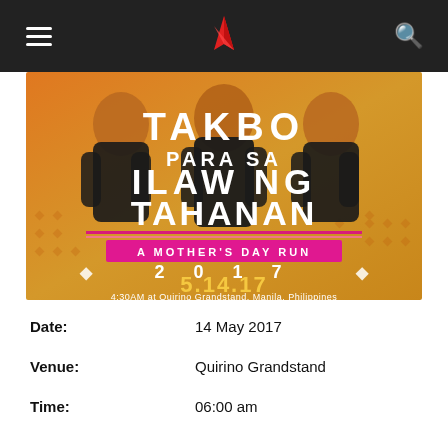Navigation header with hamburger menu, logo, and search icon
[Figure (photo): Event poster for 'Takbo Para Sa Ilaw Ng Tahanan – A Mother's Day Run 2017'. Features three women in black athletic wear on an orange/yellow gradient background. Text reads: TAKBO PARA SA ILAW NG TAHANAN, A MOTHER'S DAY RUN, 2017, 5.14.17, 4:30AM at Quirino Grandstand, Manila, Philippines]
Date: 14 May 2017
Venue: Quirino Grandstand
Time: 06:00 am